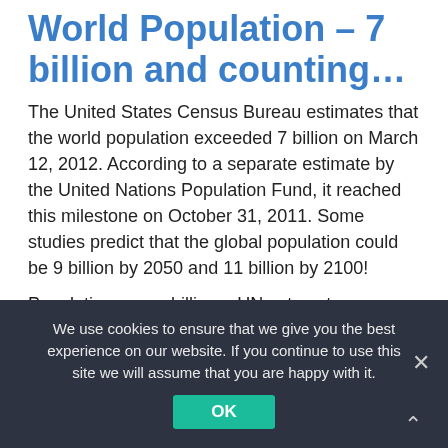World Population – 7 billion and counting…
The United States Census Bureau estimates that the world population exceeded 7 billion on March 12, 2012. According to a separate estimate by the United Nations Population Fund, it reached this milestone on October 31, 2011. Some studies predict that the global population could be 9 billion by 2050 and 11 billion by 2100!
Population seven billion – UN sets out challenges (BBC News)
The World at 7 Billion (UNFPA – United Nations
We use cookies to ensure that we give you the best experience on our website. If you continue to use this site we will assume that you are happy with it.